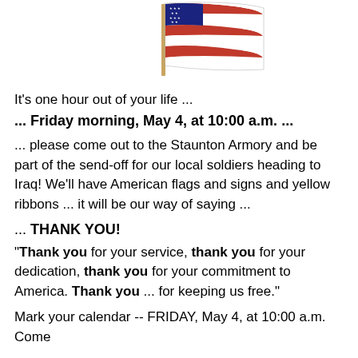[Figure (illustration): American flag waving on a pole, illustrated clipart style, centered at top of page]
It's one hour out of your life ...
... Friday morning, May 4, at 10:00 a.m. ...
... please come out to the Staunton Armory and be part of the send-off for our local soldiers heading to Iraq! We'll have American flags and signs and yellow ribbons ... it will be our way of saying ...
... THANK YOU!
"Thank you for your service, thank you for your dedication, thank you for your commitment to America. Thank you ... for keeping us free."
Mark your calendar -- FRIDAY, May 4, at 10:00 a.m. Come